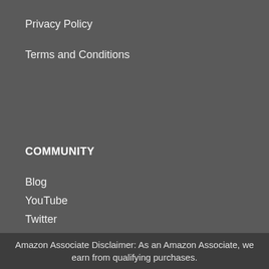Privacy Policy
Terms and Conditions
COMMUNITY
Blog
YouTube
Twitter
Facebook
Amazon Associate Disclaimer: As an Amazon Associate, we earn from qualifying purchases.